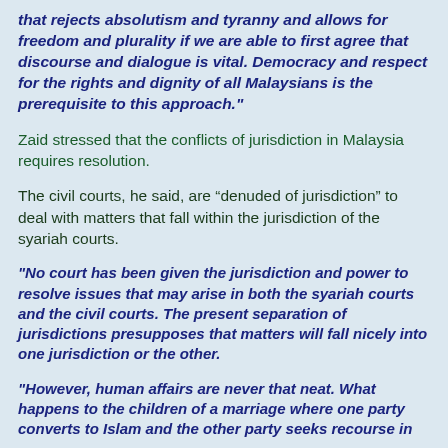that rejects absolutism and tyranny and allows for freedom and plurality if we are able to first agree that discourse and dialogue is vital. Democracy and respect for the rights and dignity of all Malaysians is the prerequisite to this approach."
Zaid stressed that the conflicts of jurisdiction in Malaysia requires resolution.
The civil courts, he said, are “denuded of jurisdiction” to deal with matters that fall within the jurisdiction of the syariah courts.
"No court has been given the jurisdiction and power to resolve issues that may arise in both the syariah courts and the civil courts. The present separation of jurisdictions presupposes that matters will fall nicely into one jurisdiction or the other.
"However, human affairs are never that neat. What happens to the children of a marriage where one party converts to Islam and the other party seeks recourse in